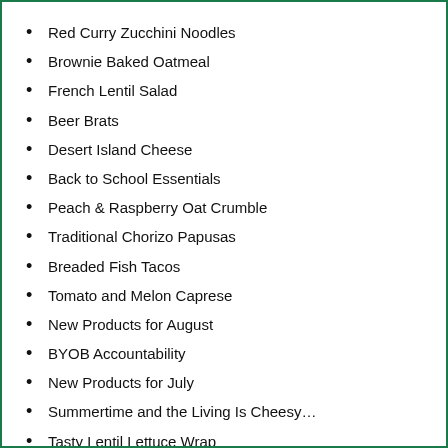Red Curry Zucchini Noodles
Brownie Baked Oatmeal
French Lentil Salad
Beer Brats
Desert Island Cheese
Back to School Essentials
Peach & Raspberry Oat Crumble
Traditional Chorizo Papusas
Breaded Fish Tacos
Tomato and Melon Caprese
New Products for August
BYOB Accountability
New Products for July
Summertime and the Living Is Cheesy…
Tasty Lentil Lettuce Wrap